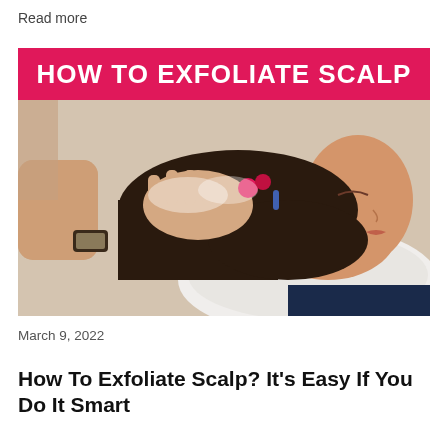Read more
[Figure (photo): Blog article thumbnail image with pink banner reading 'HOW TO EXFOLIATE SCALP' and a photo of a woman getting her hair washed at a salon sink by a stylist wearing gloves and a watch.]
March 9, 2022
How To Exfoliate Scalp? It's Easy If You Do It Smart